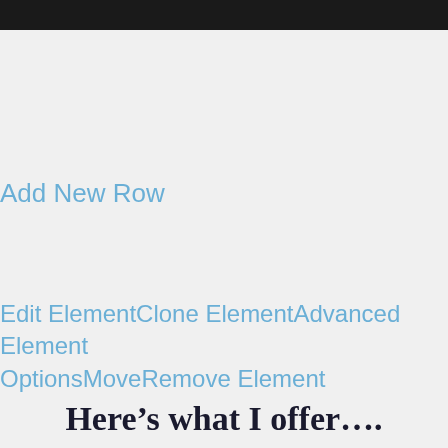Add New Row
Edit ElementClone ElementAdvanced Element OptionsMoveRemove Element
Here’s what I offer….